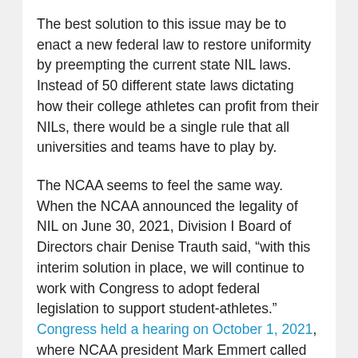The best solution to this issue may be to enact a new federal law to restore uniformity by preempting the current state NIL laws. Instead of 50 different state laws dictating how their college athletes can profit from their NILs, there would be a single rule that all universities and teams have to play by.
The NCAA seems to feel the same way. When the NCAA announced the legality of NIL on June 30, 2021, Division I Board of Directors chair Denise Trauth said, “with this interim solution in place, we will continue to work with Congress to adopt federal legislation to support student-athletes.” Congress held a hearing on October 1, 2021, where NCAA president Mark Emmert called on Congress to act, claiming that the NCAA has an urgent need for NIL federal framework.
So far, there has not been any federal or NCAA action taken. This will be an interesting issue to follow, as many college sports pundits claim that NIL has turned college athletics into the “wild wild west” without an